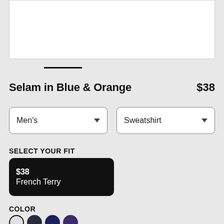[Figure (photo): White product image display area (cropped top)]
Selam in Blue & Orange
$38
Men's
Sweatshirt
SELECT YOUR FIT
$38
French Terry
COLOR
[Figure (other): Four color swatches: white/black outlined, dark gray, navy blue, purple]